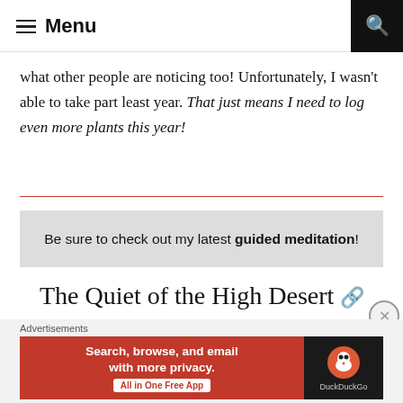Menu
what other people are noticing too! Unfortunately, I wasn't able to take part least year. That just means I need to log even more plants this year!
Be sure to check out my latest guided meditation!
The Quiet of the High Desert
Mindful Foliage
[Figure (screenshot): DuckDuckGo advertisement banner: 'Search, browse, and email with more privacy. All in One Free App' with DuckDuckGo logo on dark background]